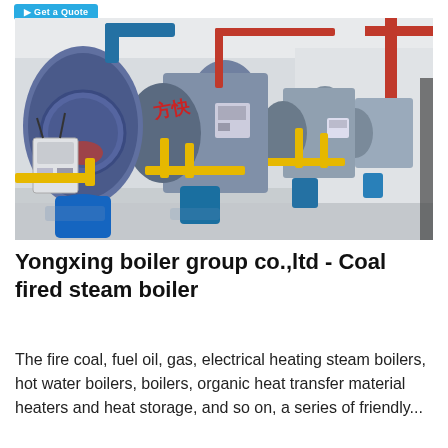[Figure (photo): Industrial boiler room showing a row of large cylindrical steam boilers (branded FANGKUAI) with blue cylindrical bases, yellow gas pipes, red piping, and control panels, in a clean factory setting.]
Yongxing boiler group co.,ltd - Coal fired steam boiler
The fire coal, fuel oil, gas, electrical heating steam boilers, hot water boilers, boilers, organic heat transfer material heaters and heat storage, and so on, a series of friendly...